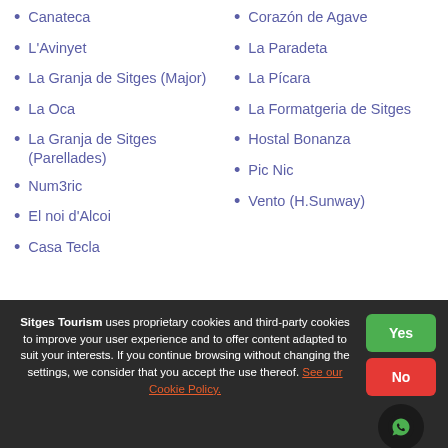Canateca
L'Avinyet
La Granja de Sitges (Major)
La Oca
La Granja de Sitges (Parellades)
Num3ric
El noi d'Alcoi
Casa Tecla
Corazón de Agave
La Paradeta
La Pícara
La Formatgeria de Sitges
Hostal Bonanza
Pic Nic
Vento (H.Sunway)
Sitges Tourism uses proprietary cookies and third-party cookies to improve your user experience and to offer content adapted to suit your interests. If you continue browsing without changing the settings, we consider that you accept the use thereof. See our Cookie Policy.